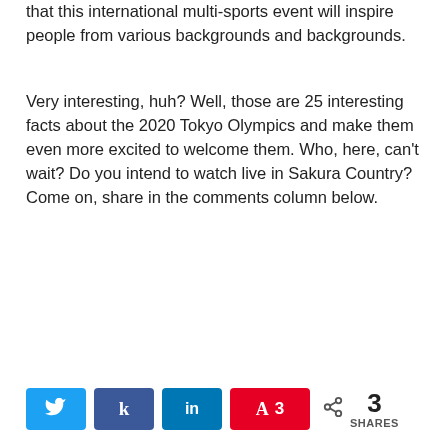that this international multi-sports event will inspire people from various backgrounds and backgrounds.
Very interesting, huh? Well, those are 25 interesting facts about the 2020 Tokyo Olympics and make them even more excited to welcome them. Who, here, can't wait? Do you intend to watch live in Sakura Country? Come on, share in the comments column below.
Social share buttons: Twitter, Facebook (k), LinkedIn (in), Pinterest (A) 3 | SHARES 3